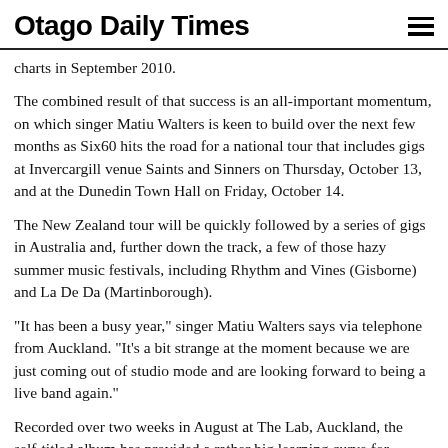Otago Daily Times
charts in September 2010.
The combined result of that success is an all-important momentum, on which singer Matiu Walters is keen to build over the next few months as Six60 hits the road for a national tour that includes gigs at Invercargill venue Saints and Sinners on Thursday, October 13, and at the Dunedin Town Hall on Friday, October 14.
The New Zealand tour will be quickly followed by a series of gigs in Australia and, further down the track, a few of those hazy summer music festivals, including Rhythm and Vines (Gisborne) and La De Da (Martinborough).
"It has been a busy year," singer Matiu Walters says via telephone from Auckland. "It's a bit strange at the moment because we are just coming out of studio mode and are looking forward to being a live band again."
Recorded over two weeks in August at The Lab, Auckland, the self-titled album has provided a rather big learning curve for Walters (vocals, guitar) and fellow band members Ji Fraser (guitar), Eli Paopai (drums), Marlon Gorbos (keyboards) and